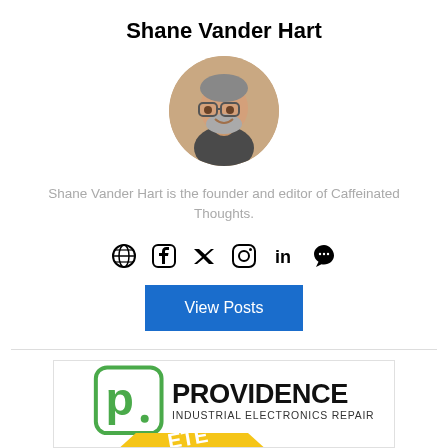Shane Vander Hart
[Figure (photo): Circular headshot photo of Shane Vander Hart, a middle-aged man with glasses and a beard, smiling]
Shane Vander Hart is the founder and editor of Caffeinated Thoughts.
[Figure (infographic): Row of social media icons: globe/website, Facebook, Twitter, Instagram, LinkedIn, Snapchat]
[Figure (other): Blue 'View Posts' button]
[Figure (logo): Providence Industrial Electronics Repair advertisement banner with green logo and bold black text, partially visible yellow diagonal banner with letters ETE]